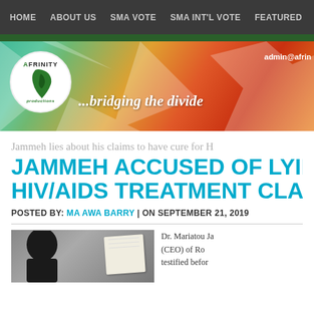HOME   ABOUT US   SMA VOTE   SMA INT'L VOTE   FEATURED
[Figure (logo): Afrinity Productions logo — circular white badge with Africa map silhouette in green, text 'AFRINITY PRODUCTIONS' around it, set on a colorful geometric banner with tagline '...bridging the divide' and email 'admin@afrin...']
Jammeh lies about his claims to have cure for H
JAMMEH ACCUSED OF LYING ABOUT HIV/AIDS TREATMENT CLAIMS
POSTED BY: MA AWA BARRY | ON SEPTEMBER 21, 2019
[Figure (photo): Photo showing a dark silhouette of a person's head on the left, and a white folded item (possibly a cloth or document) on the right side, against a grey background.]
Dr. Mariatou Ja (CEO) of Ro testified befor